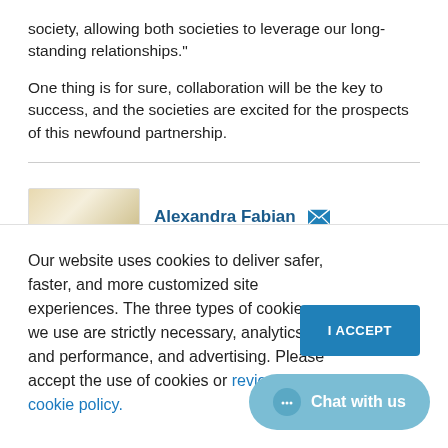society, allowing both societies to leverage our long-standing relationships."
One thing is for sure, collaboration will be the key to success, and the societies are excited for the prospects of this newfound partnership.
Alexandra Fabian [email icon]
[Figure (photo): Partial photo of a person, cropped, showing top of head]
Our website uses cookies to deliver safer, faster, and more customized site experiences. The three types of cookies we use are strictly necessary, analytics and performance, and advertising. Please accept the use of cookies or review our cookie policy.
I ACCEPT
Chat with us